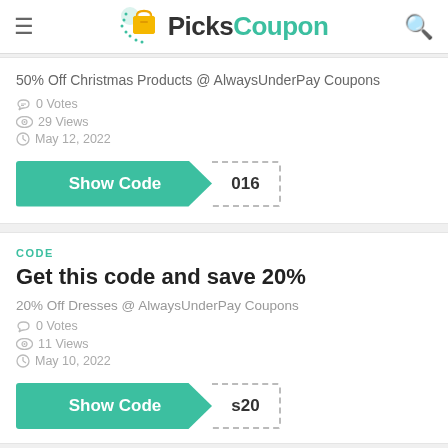PicksCoupon
50% Off Christmas Products @ AlwaysUnderPay Coupons
0 Votes
29 Views
May 12, 2022
Show Code | 016
CODE
Get this code and save 20%
20% Off Dresses @ AlwaysUnderPay Coupons
0 Votes
11 Views
May 10, 2022
Show Code | s20